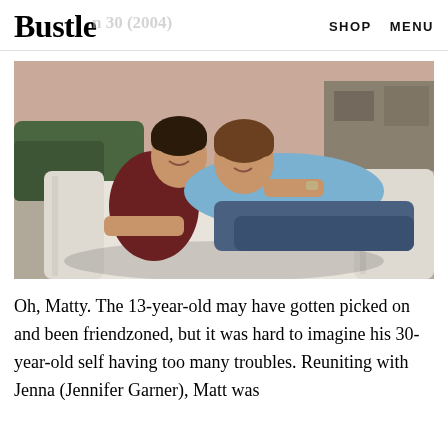Bustle   SHOP   MENU
[Figure (photo): A man in a red shirt and a woman in a light blue top lounging together on a white outdoor sofa, smiling and leaning on each other in a garden/patio setting. Movie still from 13 Going on 30 (2004).]
Oh, Matty. The 13-year-old may have gotten picked on and been friendzoned, but it was hard to imagine his 30-year-old self having too many troubles. Reuniting with Jenna (Jennifer Garner), Matt was